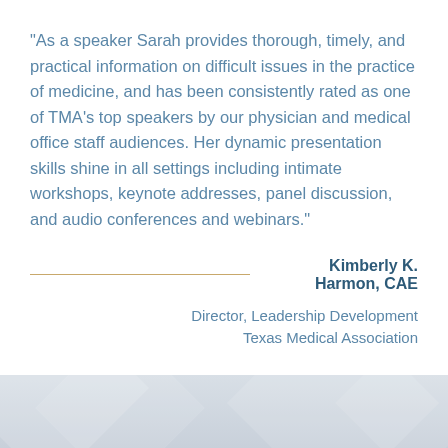"As a speaker Sarah provides thorough, timely, and practical information on difficult issues in the practice of medicine, and has been consistently rated as one of TMA's top speakers by our physician and medical office staff audiences. Her dynamic presentation skills shine in all settings including intimate workshops, keynote addresses, panel discussion, and audio conferences and webinars."
Kimberly K. Harmon, CAE
Director, Leadership Development
Texas Medical Association